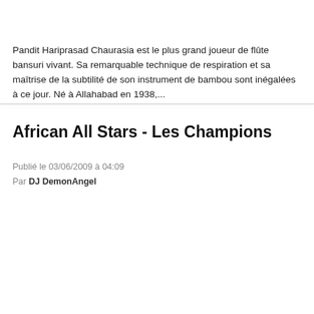Pandit Hariprasad Chaurasia est le plus grand joueur de flûte bansuri vivant. Sa remarquable technique de respiration et sa maîtrise de la subtilité de son instrument de bambou sont inégalées à ce jour. Né à Allahabad en 1938,...
African All Stars - Les Champions
Publié le 03/06/2009 à 04:09
Par DJ DemonAngel